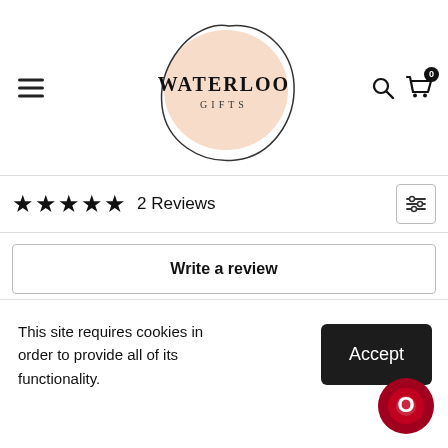[Figure (logo): Waterloo Gifts logo — peach/salmon circular blob with thin black outline circle, text WATERLOO GIFTS in serif caps]
2 Reviews
Write a review
This site requires cookies in order to provide all of its functionality.
Accept